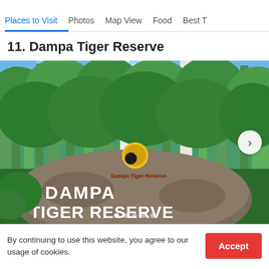Places to Visit | Photos | Map View | Food | Best T
11. Dampa Tiger Reserve
[Figure (photo): Entrance to Dampa Tiger Reserve — a large boulder with 'DAMPA TIGER RESERVE' painted in white letters, set against a dense green forest background with tall trees and blue sky. A yellow circular logo/emblem is visible above the rock.]
By continuing to use this website, you agree to our usage of cookies.